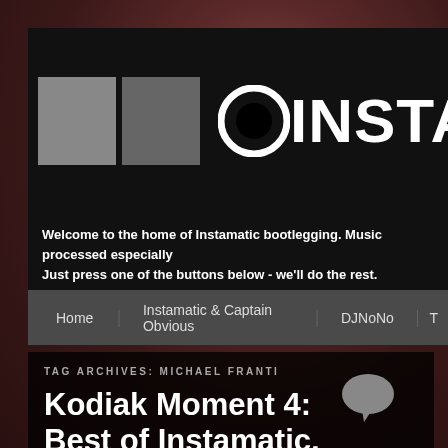[Figure (screenshot): Website screenshot of Instamatic bootlegging site with background photo of a person]
INSTAMA
Welcome to the home of Instamatic bootlegging. Music processed especially Just press one of the buttons below - we'll do the rest. Available sizes: MP3, C
Home | Instamatic & Captain Obvious | DJNoNo | T
TAG ARCHIVES: MICHAEL FRANTI
Kodiak Moment 4: Best of Instamatic, Captain Obvious & the 2013–2020